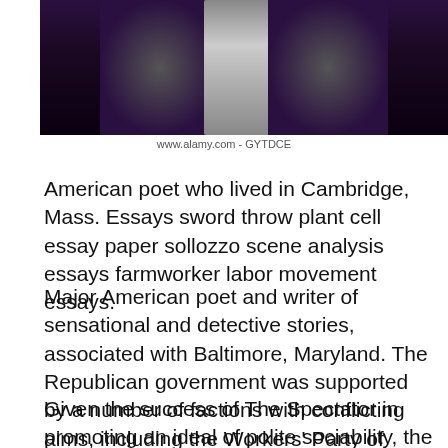[Figure (photo): Black and white/dark photo of figures against a dark purple background]
www.alamy.com - GYTDCE
American poet who lived in Cambridge, Mass. Essays sword throw plant cell essay paper sollozzo scene analysis essays farmworker labor movement essays.
Major American poet and writer of sensational and detective stories, associated with Baltimore, Maryland. The Republican government was supported by a number of factions with conflicting aims, including the Workers' Party of Marxist Unification.
Given the success of The Spectator in promoting an ideal of polite sociability, the correspondence of its supposed readers was an important feature of the publication. He was disappointed when Gollancz turned down Burmese Days...